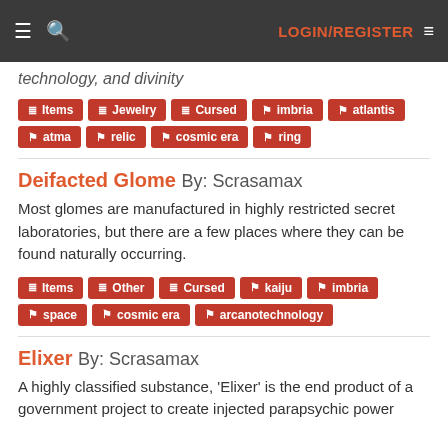LOGIN/REGISTER
technology, and divinity
Items | Jewelry | Cursed | imbria | atlantis | atma | relic | cosmic era | ring
Deifacted Glome By: Scrasamax
Most glomes are manufactured in highly restricted secret laboratories, but there are a few places where they can be found naturally occurring.
Items | Other | Cursed | kaiju | imbria | space | cosmic era | arcanotechnology
Elixer By: Scrasamax
A highly classified substance, 'Elixer' is the end product of a government project to create injected parapsychic power